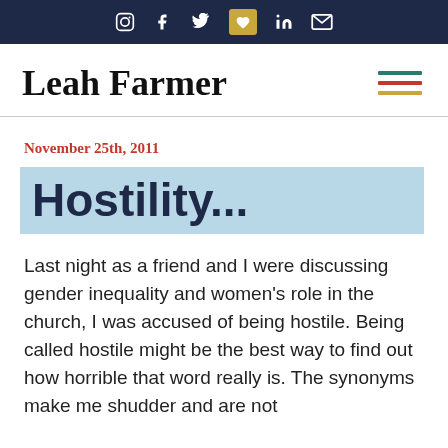Social media icons: Instagram, Facebook, Twitter, Heart/bookmark, LinkedIn, Email
Leah Farmer
November 25th, 2011
Hostility...
Last night as a friend and I were discussing gender inequality and women's role in the church, I was accused of being hostile. Being called hostile might be the best way to find out how horrible that word really is. The synonyms make me shudder and are not